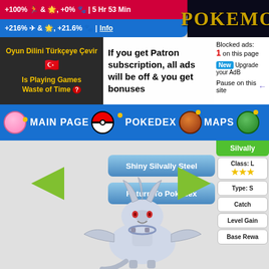+100% & , +0% | 5 Hr 53 Min
+216% & , +21.6% | Info
POKEMO
Oyun Dilini Türkçeye Çevir
Is Playing Games Waste of Time
If you get Patron subscription, all ads will be off & you get bonuses
Blocked ads: 1 on this page
New Upgrade your AdB
Pause on this site
MAIN PAGE | POKEDEX | MAPS
Shiny Silvally Steel
Return To Pokédex
Silvally — Class: L ★★★ — Type: S — Catch — Level Gain — Base Rewa